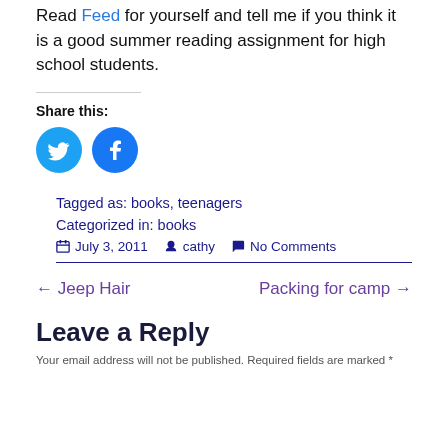Read Feed for yourself and tell me if you think it is a good summer reading assignment for high school students.
Share this:
[Figure (other): Twitter and Facebook share buttons as circular icons]
Tagged as: books, teenagers
Categorized in: books
July 3, 2011  cathy  No Comments
← Jeep Hair
Packing for camp →
Leave a Reply